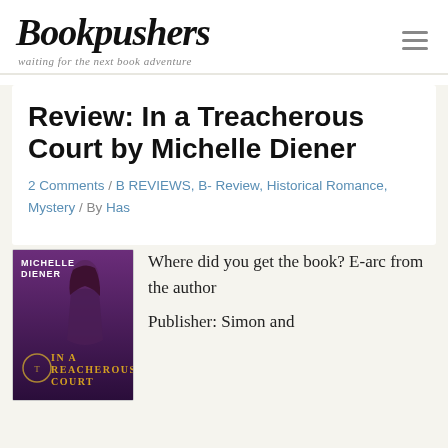Bookpushers — waiting for the next book adventure
Review: In a Treacherous Court by Michelle Diener
2 Comments / B REVIEWS, B- Review, Historical Romance, Mystery / By Has
[Figure (photo): Book cover of 'In a Treacherous Court' by Michelle Diener, showing a woman with dark hair in a purple/maroon historical dress against a decorative background]
Where did you get the book? E-arc from the author
Publisher: Simon and